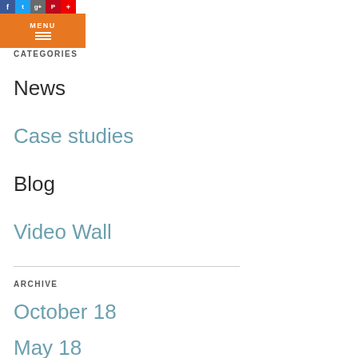[Figure (screenshot): Orange MENU button with hamburger icon and social media icons at top left]
CATEGORIES
News
Case studies
Blog
Video Wall
ARCHIVE
October 18
May 18